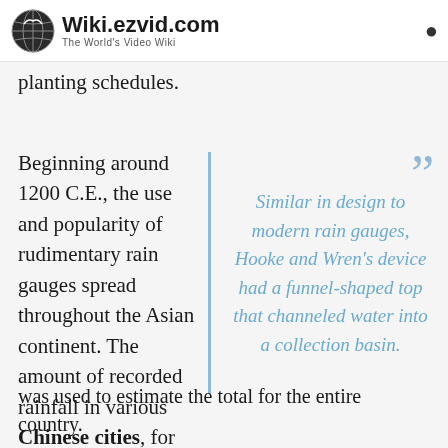Wiki.ezvid.com — The World's Video Wiki
ian, Middle Eastern, and Asian cultures also employ rain gauges to aid in determining ideal planting schedules.
Beginning around 1200 C.E., the use and popularity of rudimentary rain gauges spread throughout the Asian continent. The amount of recorded rainfall in various Chinese cities, for example, was used to estimate the total for the entire country.
Similar in design to modern rain gauges, Hooke and Wren's device had a funnel-shaped top that channeled water into a collection basin.